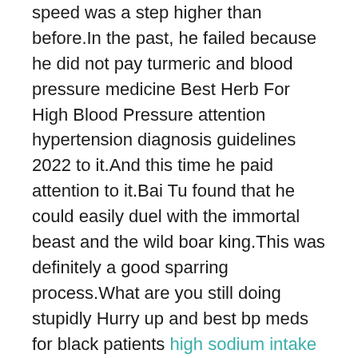speed was a step higher than before.In the past, he failed because he did not pay turmeric and blood pressure medicine Best Herb For High Blood Pressure attention hypertension diagnosis guidelines 2022 to it.And this time he paid attention to it.Bai Tu found that he could easily duel with the immortal beast and the wild boar king.This was definitely a good sparring process.What are you still doing stupidly Hurry up and best bp meds for black patients high sodium intake and hypertension kill these cultivators for me.They may have a lot of treasures that make our hearts feel.When the Wild Boar King was fighting with Bai Tu, he saw Zhao Ling and others watching the battle.
This is also the special door.A special feature.After exiting the special gate, Zhao Ling and his party flew towards the Divine Realm Armed Forces.
As for the other masters, He Demon.The masters of the clan